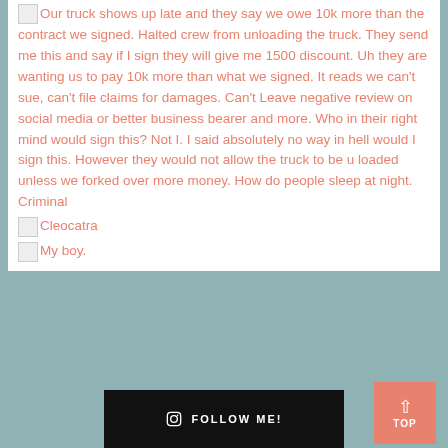Our truck shows up late and they say we owe 10k more than the contract we signed. Halted crew from unloading the truck. They send me this and say if I sign they will give me 1500 discount. Uh they are wanting us to pay 10k more than what we signed. It reads we can't sue, can't file claims for damages. Can't Leave negative review on social media or better business bearer and more. Who in their right mind would sign this? Not I. I said absolutely no way in hell would I sign this. However they would not allow the truck to be u loaded unless we forked over more money. How do people sleep at night. Criminal
Cleocatra
My boy.
[Figure (other): Follow me button with Instagram icon on black background]